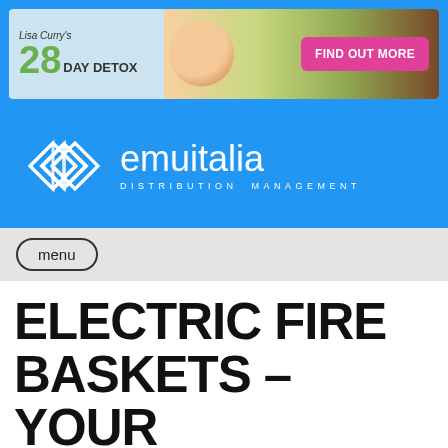[Figure (illustration): Advertisement banner for Lisa Curry's 28 Day Detox with a pink 'FIND OUT MORE' button and food/person imagery]
[Figure (logo): Emuitalia Distribution Management logo with diamond/rhombus icon on blue background]
menu
ELECTRIC FIRE BASKETS – YOUR QUESTIONS ANSWERED